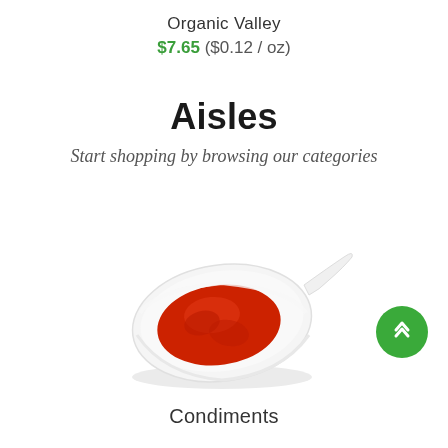Organic Valley
$7.65 ($0.12 / oz)
Aisles
Start shopping by browsing our categories
[Figure (photo): A white ceramic spoon-shaped dish containing red ketchup/condiment sauce, viewed from above at an angle.]
Condiments
Featured Brands